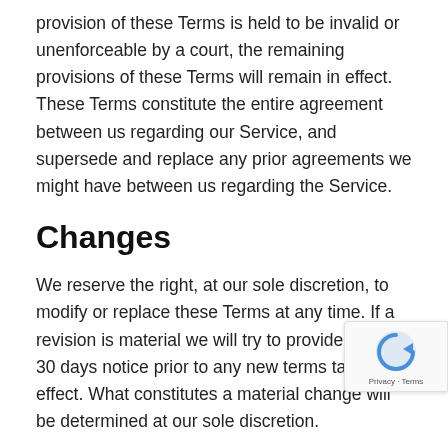provision of these Terms is held to be invalid or unenforceable by a court, the remaining provisions of these Terms will remain in effect. These Terms constitute the entire agreement between us regarding our Service, and supersede and replace any prior agreements we might have between us regarding the Service.
Changes
We reserve the right, at our sole discretion, to modify or replace these Terms at any time. If a revision is material we will try to provide at least 30 days notice prior to any new terms taking effect. What constitutes a material change will be determined at our sole discretion.
By continuing to access or use our Service after those revisions become effective, you agree to be bound by the revised terms. If you do not agree to the new terms, please